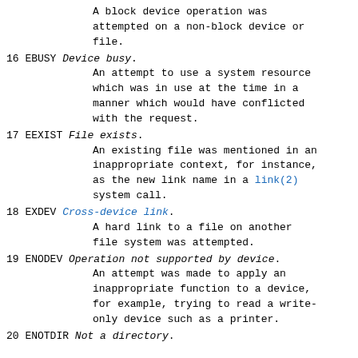A block device operation was attempted on a non-block device or file.
16 EBUSY Device busy. An attempt to use a system resource which was in use at the time in a manner which would have conflicted with the request.
17 EEXIST File exists. An existing file was mentioned in an inappropriate context, for instance, as the new link name in a link(2) system call.
18 EXDEV Cross-device link. A hard link to a file on another file system was attempted.
19 ENODEV Operation not supported by device. An attempt was made to apply an inappropriate function to a device, for example, trying to read a write-only device such as a printer.
20 ENOTDIR Not a directory.